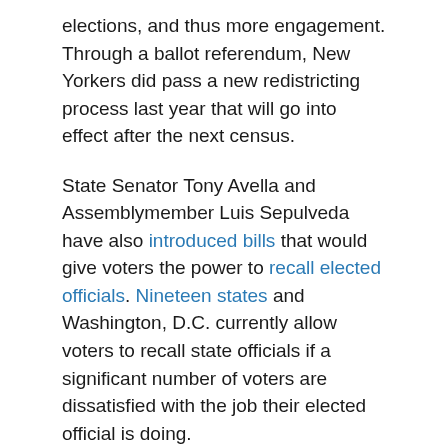elections, and thus more engagement. Through a ballot referendum, New Yorkers did pass a new redistricting process last year that will go into effect after the next census.
State Senator Tony Avella and Assemblymember Luis Sepulveda have also introduced bills that would give voters the power to recall elected officials. Nineteen states and Washington, D.C. currently allow voters to recall state officials if a significant number of voters are dissatisfied with the job their elected official is doing.
***
by Meg O'Connor, Gotham Gazette
Read more by this writer.